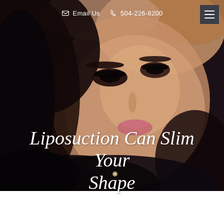[Figure (photo): Close-up portrait of a woman with dark hair lying back, wearing heavy eye makeup with false lashes and lipstick, serving as hero background image for a medical/cosmetic surgery webpage]
Email Us  504-226-8200
Liposuction Can Slim Your Shape